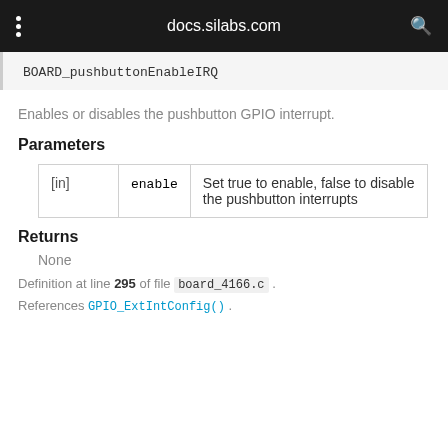docs.silabs.com
BOARD_pushbuttonEnableIRQ
Enables or disables the pushbutton GPIO interrupt.
Parameters
|  |  |  |
| --- | --- | --- |
| [in] | enable | Set true to enable, false to disable the pushbutton interrupts |
Returns
None
Definition at line 295 of file board_4166.c .
References GPIO_ExtIntConfig() .